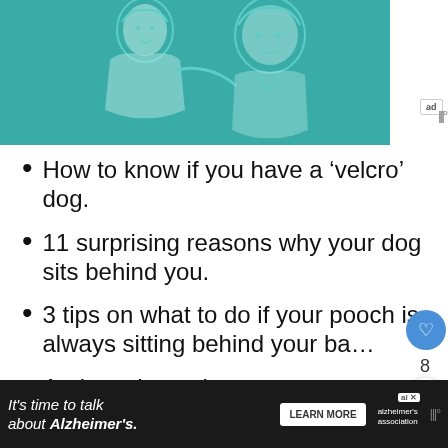[Figure (illustration): Alzheimer's Association advertisement banner with teal background showing cartoon illustration of two people (caregiver and patient), with 'ad' label and Alzheimer's Association logo]
How to know if you have a ‘velcro’ dog.
11 surprising reasons why your dog sits behind you.
3 tips on what to do if your pooch is always sitting behind your ba…
And much much more…
[Figure (screenshot): UI overlay showing heart/like button (blue circle), count of 8, share button, and 'WHAT'S NEXT' panel with thumbnail and text '11 Surprising Reasons Wh...']
[Figure (advertisement): Bottom black banner ad reading 'It’s time to talk about Alzheimer’s.' with LEARN MORE button and Alzheimer's Association logo]